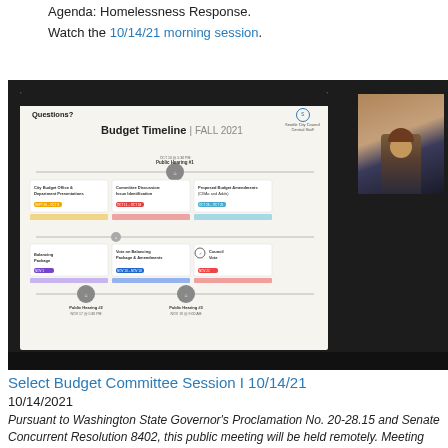Agenda: Homelessness Response.
Watch the 10/14/21 morning session.
[Figure (screenshot): Screenshot of a video conference showing a Seattle City Council Central Staff presentation slide titled 'Budget Timeline | FALL 2021' with a timeline showing various budget committee sessions, public hearings, and voting dates. A webcam thumbnail of a woman presenter is visible in the upper right corner of the screen.]
Select Budget Committee Session I 10/14/21
10/14/2021
Pursuant to Washington State Governor's Proclamation No. 20-28.15 and Senate Concurrent Resolution 8402, this public meeting will be held remotely. Meeting participation is limited to access by the telephone number provided on the meeting agenda, and the meeting is accessible via telephone and Seattle Channel online.